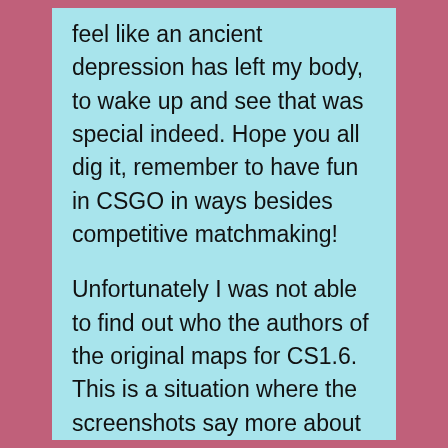feel like an ancient depression has left my body, to wake up and see that was special indeed. Hope you all dig it, remember to have fun in CSGO in ways besides competitive matchmaking!
Unfortunately I was not able to find out who the authors of the original maps for CS1.6. This is a situation where the screenshots say more about the map than anybody else can. I advise everyone to download and play. Because it is best remakes of popular standard maps and I hope that DC will include its in the next patch. In my opinion, this famous maps of fun, especially when you play 8-8... and even Cricittime 75.5 f...